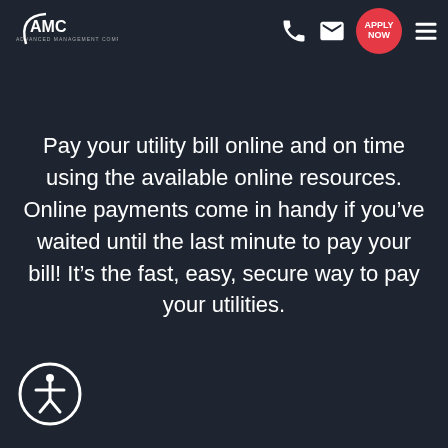[Figure (logo): AMC Advanced Management Company logo — white arc and text on dark background]
UTILITIES
Pay your utility bill online and on time using the available online resources. Online payments come in handy if you've waited until the last minute to pay your bill! It's the fast, easy, secure way to pay your utilities.
[Figure (illustration): Accessibility icon — person inside a circle, white on dark blue background]